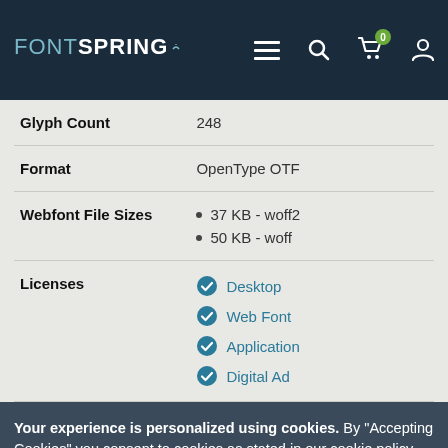FONTSPRING — navigation bar with menu, search, cart (0), and user icons
| Property | Value |
| --- | --- |
| Glyph Count | 248 |
| Format | OpenType OTF |
| Webfont File Sizes | 37 KB - woff2 | 50 KB - woff |
| Licenses | Desktop | Web Font | Application | Digital Ad |
Your experience is personalized using cookies. By "Accepting Cookies" you consent to cookies as stated in our cookie policy.
Accept Cookies